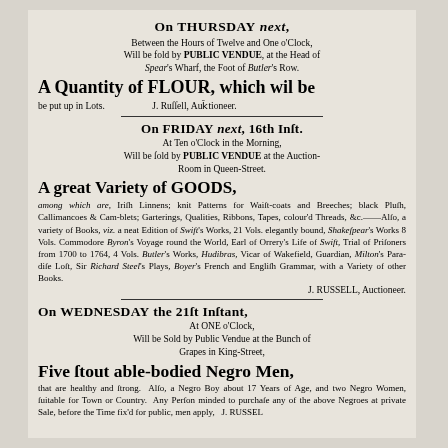On THURSDAY next, Between the Hours of Twelve and One o'Clock, Will be fold by PUBLIC VENDUE, at the Head of Spear's Wharf, the Foot of Butler's Row.
A Quantity of FLOUR, which wil be put up in Lots. J. Russell, Auctioneer.
On FRIDAY next, 16th Inst. At Ten o'Clock in the Morning, Will be sold by PUBLIC VENDUE at the Auction-Room in Queen-Street.
A great Variety of GOODS, among which are, Irish Linnens; knit Patterns for Waistcoats and Breeches; black Plush, Callimancoes & Camblets; Garterings, Qualities, Ribbons, Tapes, colour'd Threads, &c.——Also, a variety of Books, viz. a neat Edition of Swift's Works, 21 Vols. elegantly bound, Shakespear's Works 8 Vols. Commodore Byron's Voyage round the World, Earl of Orrery's Life of Swift, Trial of Prisoners from 1700 to 1764, 4 Vols. Butler's Works, Hudibras, Vicar of Wakefield, Guardian, Milton's Paradise Lost, Sir Richard Steel's Plays, Boyer's French and English Grammar, with a Variety of other Books. J. RUSSELL, Auctioneer.
On WEDNESDAY the 21st Instant, At ONE o'Clock, Will be Sold by Public Vendue at the Bunch of Grapes in King-Street,
Five stout able-bodied Negro Men, that are healthy and strong. Also, a Negro Boy about 17 Years of Age, and two Negro Women, suitable for Town or Country. Any Person minded to purchase any of the above Negroes at private Sale, before the Time fix'd for public, men apply... J. RUSSEL